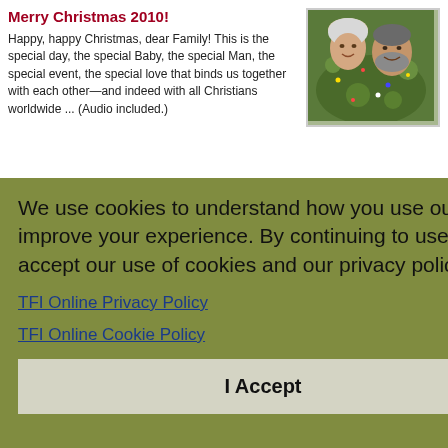Merry Christmas 2010!
Happy, happy Christmas, dear Family! This is the special day, the special Baby, the special Man, the special event, the special love that binds us together with each other—and indeed with all Christians worldwide ... (Audio included.)
[Figure (photo): Photo of a man and woman smiling in front of a Christmas tree]
We use cookies to understand how you use our site and to improve your experience. By continuing to use our site, you accept our use of cookies and our privacy policy.
TFI Online Privacy Policy
TFI Online Cookie Policy
I Accept
esus.
by Maria Fontaine